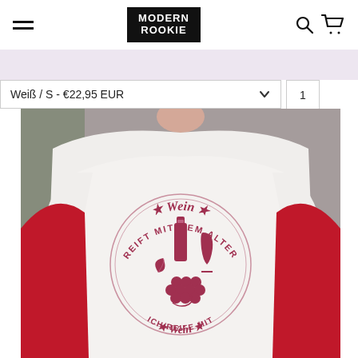Modern Rookie — navigation header with hamburger menu, logo, search and cart icons
Weiß / S - €22,95 EUR
[Figure (photo): Person wearing a white t-shirt with a circular wine-themed graphic in dark pink/crimson. The graphic reads: '★ Wein ★ REIFT MIT DEM ALTER' around the top arc, with a wine bottle, wine glass and grapes illustration in the center, and 'ICH REIFE MIT ★ Wein ★' around the bottom arc. The person also wears a red jacket draped over their shoulders.]